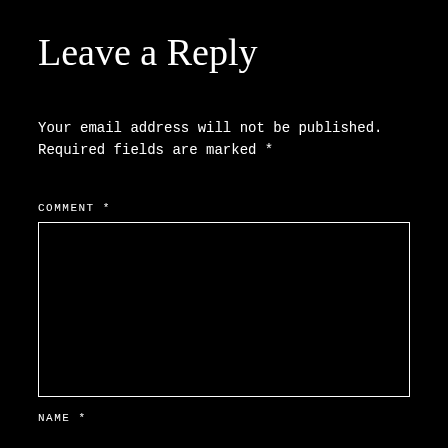Leave a Reply
Your email address will not be published. Required fields are marked *
COMMENT *
[Figure (other): Empty comment textarea input box with white border on black background]
NAME *